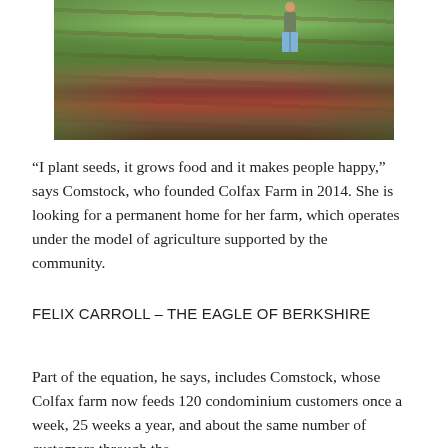[Figure (photo): A person using a hoe or rake to tend rows of leafy crops (lettuce/greens) in a farm field. Green grass borders the cultivated rows. The photo is taken from above showing neat rows of reddish-green plants.]
“I plant seeds, it grows food and it makes people happy,” says Comstock, who founded Colfax Farm in 2014. She is looking for a permanent home for her farm, which operates under the model of agriculture supported by the community.
FELIX CARROLL – THE EAGLE OF BERKSHIRE
Part of the equation, he says, includes Comstock, whose Colfax farm now feeds 120 condominium customers once a week, 25 weeks a year, and about the same number of customers through the